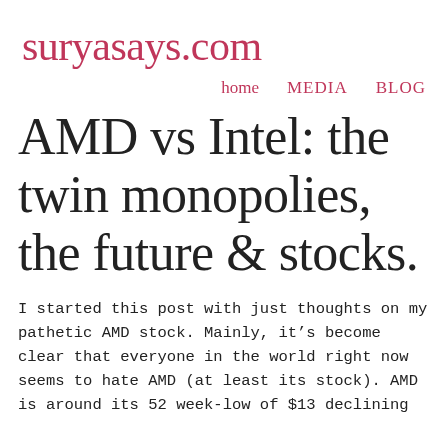suryasays.com
home   MEDIA   BLOG
AMD vs Intel: the twin monopolies, the future & stocks.
I started this post with just thoughts on my pathetic AMD stock. Mainly, it’s become clear that everyone in the world right now seems to hate AMD (at least its stock). AMD is around its 52 week-low of $13 declining